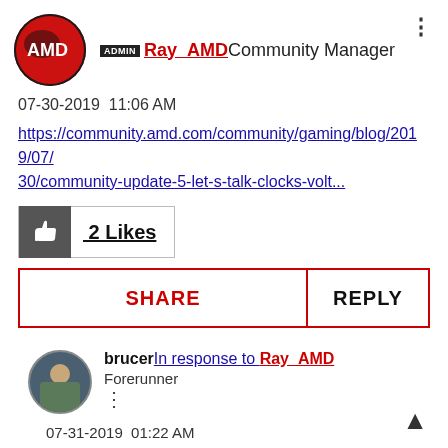ADMIN Ray_AMD Community Manager
07-30-2019 11:06 AM
https://community.amd.com/community/gaming/blog/2019/07/30/community-update-5-let-s-talk-clocks-volt...
2 Likes
SHARE
REPLY
brucer In response to Ray_AMD Forerunner
07-31-2019 01:22 AM